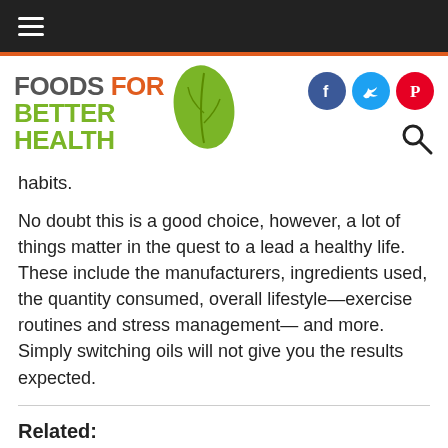Foods For Better Health — navigation bar
[Figure (logo): Foods For Better Health logo with green leaf icon]
habits.
No doubt this is a good choice, however, a lot of things matter in the quest to a lead a healthy life. These include the manufacturers, ingredients used, the quantity consumed, overall lifestyle—exercise routines and stress management— and more. Simply switching oils will not give you the results expected.
Related:
Difference Between Canola Oil & Vegetable Oil
Nutrition & Benefits of Avocado Oil & Olive Oil